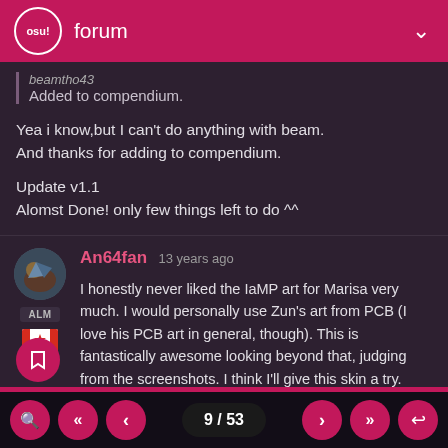osu! forum
beamtho43
Added to compendium.
Yea i know,but I can't do anything with beam.
And thanks for adding to compendium.
Update v1.1
Alomst Done! only few things left to do ^^
An64fan 13 years ago
I honestly never liked the IaMP art for Marisa very much. I would personally use Zun's art from PCB (I love his PCB art in general, though). This is fantastically awesome looking beyond that, judging from the screenshots. I think I'll give this skin a try. 🙂
Also, you could blur away the end of the spark or something though, if you can't just end it. It's not that hard.
9 / 53